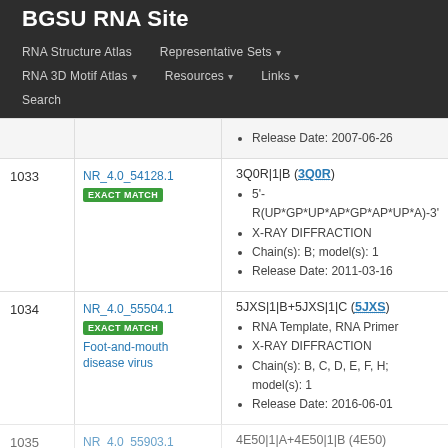BGSU RNA Site
RNA Structure Atlas | Representative Sets | RNA 3D Motif Atlas | Resources | Links | Search
Release Date: 2007-06-26
| # | ID | Details |
| --- | --- | --- |
| 1033 | NR_4.0_54128.1 EXACT MATCH | 3Q0R|1|B (3Q0R)
5'-R(UP*GP*UP*AP*GP*AP*UP*A)-3'
X-RAY DIFFRACTION
Chain(s): B; model(s): 1
Release Date: 2011-03-16 |
| 1034 | NR_4.0_55504.1 EXACT MATCH Foot-and-mouth disease virus | 5JXS|1|B+5JXS|1|C (5JXS)
RNA Template, RNA Primer
X-RAY DIFFRACTION
Chain(s): B, C, D, E, F, H; model(s): 1
Release Date: 2016-06-01 |
| 1035 | NR_4.0_55903.1 | 4E50|1|A+4E50|1|B (4E50) |